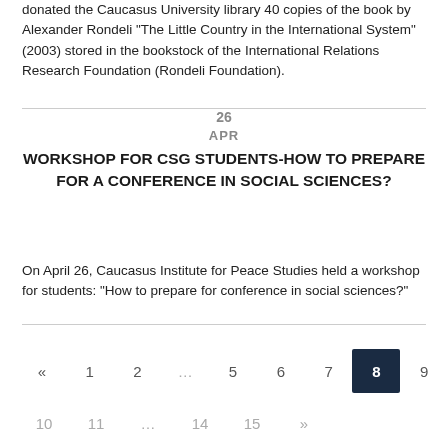donated the Caucasus University library 40 copies of the book by Alexander Rondeli "The Little Country in the International System" (2003) stored in the bookstock of the International Relations Research Foundation (Rondeli Foundation).
26
APR
WORKSHOP FOR CSG STUDENTS-HOW TO PREPARE FOR A CONFERENCE IN SOCIAL SCIENCES?
On April 26, Caucasus Institute for Peace Studies held a workshop for students: "How to prepare for conference in social sciences?"
« 1 2 ... 5 6 7 8 9
10 11 ... 14 15 »